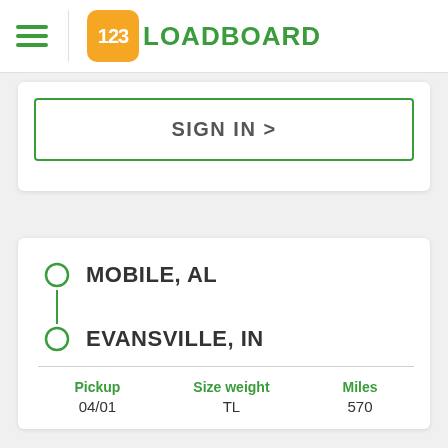123LOADBOARD
SIGN IN >
MOBILE, AL
EVANSVILLE, IN
| Pickup | Size weight | Miles |
| --- | --- | --- |
| 04/01 | TL | 570 |